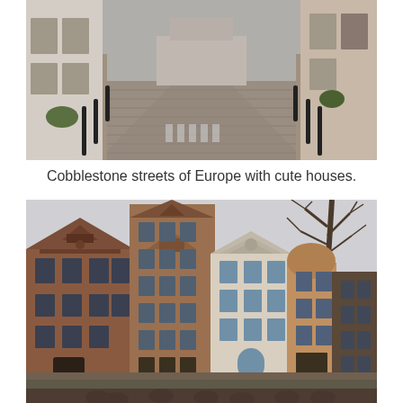[Figure (photo): Cobblestone street in a European city, lined with black bollards and brick buildings on both sides, viewed from a low perspective looking down the street.]
Cobblestone streets of Europe with cute houses.
[Figure (photo): Row of tall, ornate Dutch canal houses in Amsterdam with stepped gable roofs, brick facades, and bicycles parked along the canal waterfront. Bare winter trees visible on the right side against a grey sky.]